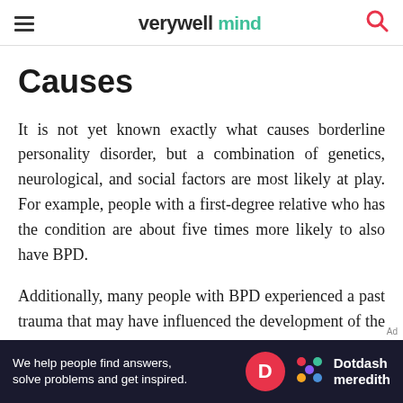verywell mind
Causes
It is not yet known exactly what causes borderline personality disorder, but a combination of genetics, neurological, and social factors are most likely at play. For example, people with a first-degree relative who has the condition are about five times more likely to also have BPD.
Additionally, many people with BPD experienced a past trauma that may have influenced the development of the disorder. Imaging studies have shown that people with BPD demonstrate
[Figure (other): Advertisement banner: Dotdash Meredith logo with text 'We help people find answers, solve problems and get inspired.']